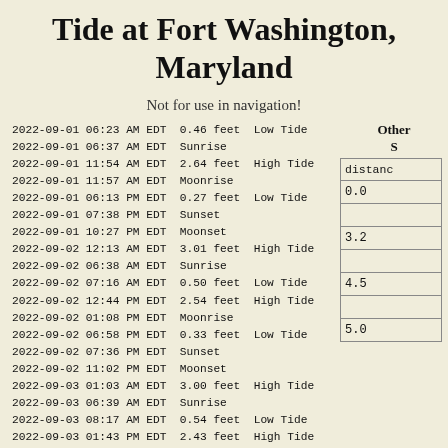Tide at Fort Washington, Maryland
Not for use in navigation!
| datetime | value | type |
| --- | --- | --- |
| 2022-09-01 06:23 AM EDT | 0.46 feet | Low Tide |
| 2022-09-01 06:37 AM EDT | Sunrise |  |
| 2022-09-01 11:54 AM EDT | 2.64 feet | High Tide |
| 2022-09-01 11:57 AM EDT | Moonrise |  |
| 2022-09-01 06:13 PM EDT | 0.27 feet | Low Tide |
| 2022-09-01 07:38 PM EDT | Sunset |  |
| 2022-09-01 10:27 PM EDT | Moonset |  |
| 2022-09-02 12:13 AM EDT | 3.01 feet | High Tide |
| 2022-09-02 06:38 AM EDT | Sunrise |  |
| 2022-09-02 07:16 AM EDT | 0.50 feet | Low Tide |
| 2022-09-02 12:44 PM EDT | 2.54 feet | High Tide |
| 2022-09-02 01:08 PM EDT | Moonrise |  |
| 2022-09-02 06:58 PM EDT | 0.33 feet | Low Tide |
| 2022-09-02 07:36 PM EDT | Sunset |  |
| 2022-09-02 11:02 PM EDT | Moonset |  |
| 2022-09-03 01:03 AM EDT | 3.00 feet | High Tide |
| 2022-09-03 06:39 AM EDT | Sunrise |  |
| 2022-09-03 08:17 AM EDT | 0.54 feet | Low Tide |
| 2022-09-03 01:43 PM EDT | 2.43 feet | High Tide |
| 2022-09-03 02:08 PM EDT | First Quarter |  |
| 2022-09-03 02:20 PM EDT | Moonrise |  |
| distance |
| --- |
| 0.0 |
| 3.2 |
| 4.5 |
| 5.0 |